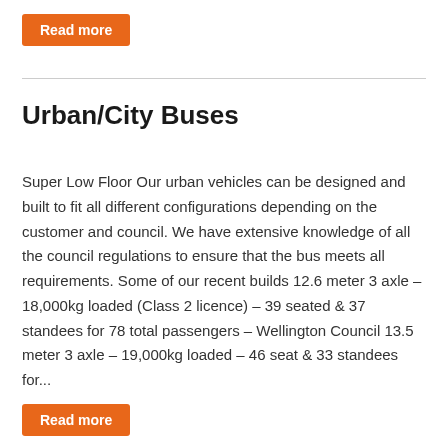Read more
Urban/City Buses
Super Low Floor Our urban vehicles can be designed and built to fit all different configurations depending on the customer and council. We have extensive knowledge of all the council regulations to ensure that the bus meets all requirements. Some of our recent builds 12.6 meter 3 axle – 18,000kg loaded (Class 2 licence) – 39 seated & 37 standees for 78 total passengers – Wellington Council 13.5 meter 3 axle – 19,000kg loaded – 46 seat & 33 standees for...
Read more